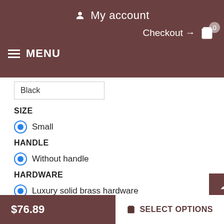My account | Checkout → 🛒 0 | MENU
Black
SIZE
Small (selected)
HANDLE
Without handle (selected)
HARDWARE
Luxury solid brass hardware (selected)
Around the neck of the dog
$76.89  SELECT OPTIONS